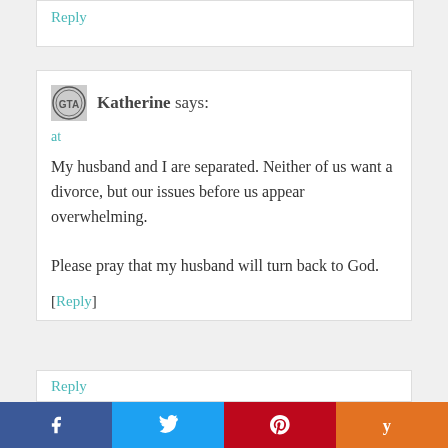Reply
Katherine says:
at
My husband and I are separated. Neither of us want a divorce, but our issues before us appear overwhelming.
Please pray that my husband will turn back to God.
[Reply]
Reply